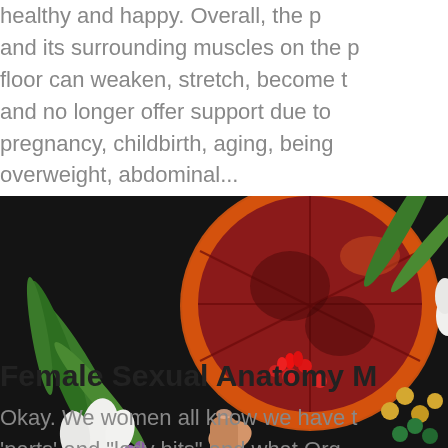healthy and happy. Overall, the pelvic floor and its surrounding muscles on the pelvic floor can weaken, stretch, become tight, and no longer offer support due to pregnancy, childbirth, aging, being overweight, abdominal...
[Figure (photo): Photo of a hand holding a sliced blood orange surrounded by flowers, green leaves, white tulips, red small flowers, and green and gold beads on a dark fur background.]
Female Sexual Anatomy M...
Okay. We women all know we have 'parts' and "lady bits" and what Org...